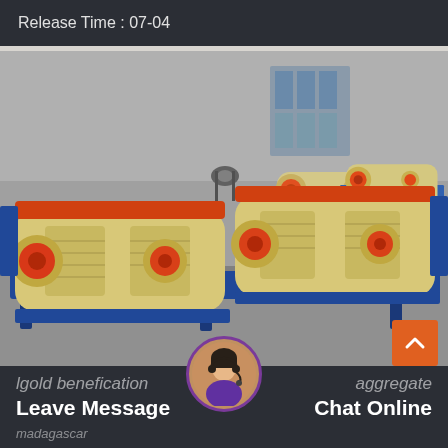Release Time : 07-04
[Figure (photo): Industrial hammer mill or crusher machines (multiple units) with cream/beige colored bodies and red circular components, mounted on blue steel frames/pallets, photographed in an industrial yard or warehouse courtyard with concrete walls and a building in the background.]
lgold benefication aggregate
Leave Message  Chat Online
madagascar